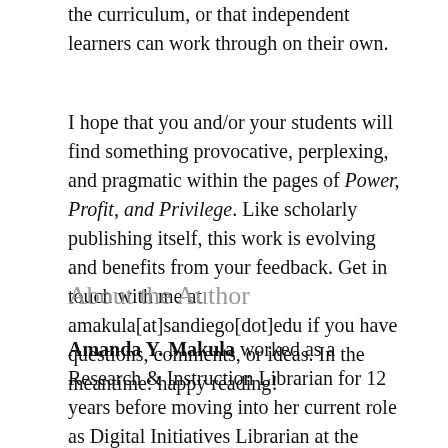the curriculum, or that independent learners can work through on their own.
I hope that you and/or your students will find something provocative, perplexing, and pragmatic within the pages of Power, Profit, and Privilege. Like scholarly publishing itself, this work is evolving and benefits from your feedback. Get in touch with me at amakula[at]sandiego[dot]edu if you have questions, comments, or ideas. In the meantime: happy reading!
About the Author
Amanda Y. Makula worked as a Research & Instruction Librarian for 12 years before moving into her current role as Digital Initiatives Librarian at the University of San Diego, where she manages the institutional repository, engages the campus community on scholarly